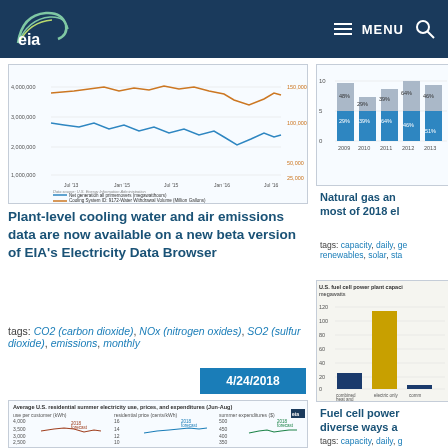EIA - U.S. Energy Information Administration
[Figure (line-chart): Line chart showing net generation all prime movers (megawatthours) and Cooling System water withdrawal volume (Million Gallons) over time from approximately Jul '13 to Jul '16]
Plant-level cooling water and air emissions data are now available on a new beta version of EIA's Electricity Data Browser
tags: CO2 (carbon dioxide), NOx (nitrogen oxides), SO2 (sulfur dioxide), emissions, monthly
4/24/2018
[Figure (line-chart): Multiple line charts showing use per customer (kWh), residential price (cents/kWh), and summer expenditures ($) with change from previous year bars]
[Figure (stacked-bar-chart): Stacked bar chart showing data from 2009-2013 with percentages 48%, 29%, 39%, 64%, 46%]
Natural gas and most of 2018 el
tags: capacity, daily, ge renewables, solar, sta
[Figure (bar-chart): Bar chart showing fuel cell capacity by sector: combined heat and power (~22), electric only (~110), commercial (~small amount). All sectors shown.]
Fuel cell power diverse ways a
tags: capacity, daily, g